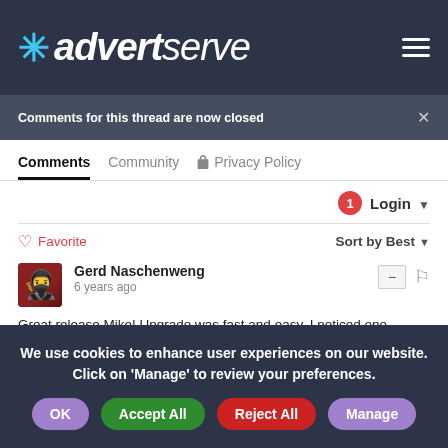advertserve
Comments for this thread are now closed
Comments  Community  Privacy Policy
1  Login
Favorite  Sort by Best
Gerd Naschenweng
6 years ago
Great release Mike! Upgrade was fast and easy. I noticed one
We use cookies to enhance user experiences on our website. Click on 'Manage' to review your preferences.
OK  Accept All  Reject All  Manage